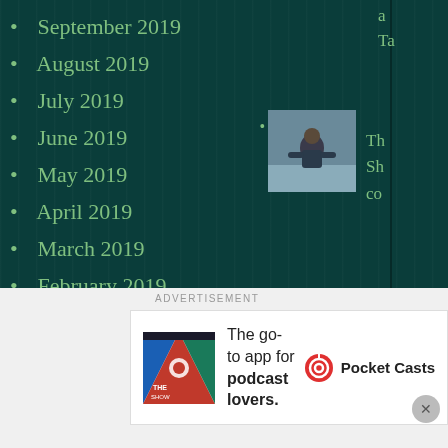September 2019
August 2019
July 2019
June 2019
May 2019
April 2019
March 2019
February 2019
January 2019
December 2018
November 2018
October 2018
September 2018
a
Ta
[Figure (photo): A person sitting outdoors in a winter/outdoor setting]
Th
Sh
co
ADVERTISEMENT
[Figure (logo): Pocket Casts app advertisement with colorful logo]
The go-to app for podcast lovers.
Pocket Casts